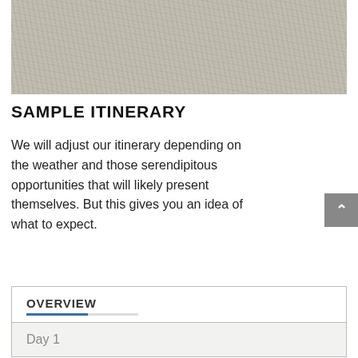[Figure (photo): A faded, washed-out photograph of dry grass or straw-like vegetation covering the ground.]
SAMPLE ITINERARY
We will adjust our itinerary depending on the weather and those serendipitous opportunities that will likely present themselves. But this gives you an idea of what to expect.
| OVERVIEW |
| --- |
| Day 1 |